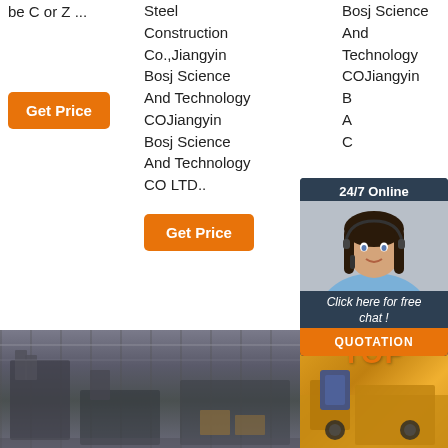be C or Z ...
Get Price
Steel Construction Co.,Jiangyin Bosj Science And Technology COJiangyin Bosj Science And Technology CO LTD..
Bosj Science And Technology COJiangyin B A C
24/7 Online
[Figure (photo): Customer service representative with headset, smiling]
Click here for free chat !
QUOTATION
Get Price
[Figure (photo): Factory interior with industrial machinery]
[Figure (photo): Industrial equipment with TOP label and orange/red machinery]